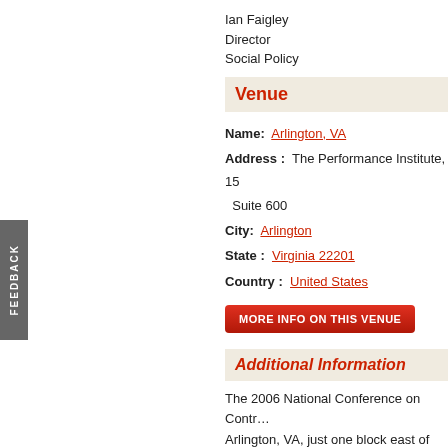Ian Faigley
Director
Social Policy
Venue
Name: Arlington, VA
Address: The Performance Institute, 15… Suite 600
City: Arlington
State: Virginia 22201
Country: United States
MORE INFO ON THIS VENUE
Additional Information
The 2006 National Conference on Contra… Arlington, VA, just one block east of the C… located inside the building. Plus, contine…